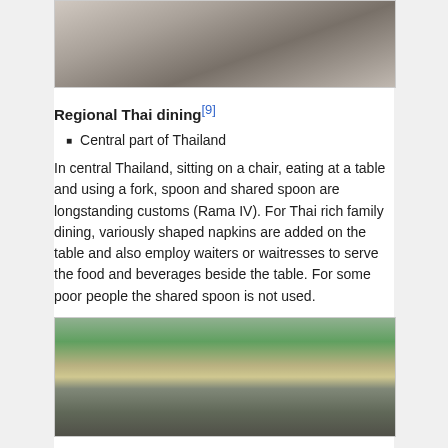[Figure (photo): Top portion of a photo showing people in a dining or market setting, partially cropped]
Regional Thai dining[9]
Central part of Thailand
In central Thailand, sitting on a chair, eating at a table and using a fork, spoon and shared spoon are longstanding customs (Rama IV). For Thai rich family dining, variously shaped napkins are added on the table and also employ waiters or waitresses to serve the food and beverages beside the table. For some poor people the shared spoon is not used.
[Figure (photo): Photo of people at a Thai dining setting with decorative elements and green background, partially cropped at bottom]